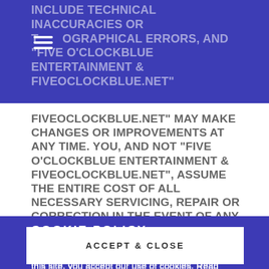INCLUDE TECHNICAL INACCURACIES OR TYPOGRAPHICAL ERRORS, AND "FIVE O'CLOCKBLUE ENTERTAINMENT & fiveoclockblue.net" MAY MAKE CHANGES OR IMPROVEMENTS AT ANY TIME. YOU, AND NOT "FIVE O'CLOCKBLUE ENTERTAINMENT & fiveoclockblue.net", ASSUME THE ENTIRE COST OF ALL NECESSARY SERVICING, REPAIR OR CORRECTION IN THE EVENT OF ANY LOSS OR DAMAGE ARISING FROM THE USE OF THIS SITE OR
COOKIE POLICY
This website uses cookies. By continuing to use this site, you accept our use of cookies. Read more on the PRIVACY POLICY page.
ACCEPT & CLOSE